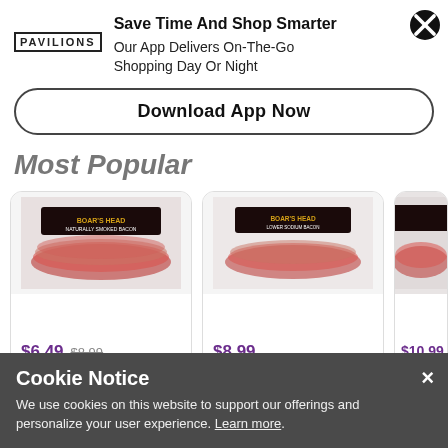[Figure (logo): Pavilions logo text in bold serif uppercase letters with border]
Save Time And Shop Smarter
Our App Delivers On-The-Go Shopping Day Or Night
Download App Now
Most Popular
[Figure (photo): Boars Head Bacon product package showing sliced bacon]
$6.49  $8.99
Boars Head Bacon
[Figure (photo): Boars Head Bacon product package showing sliced bacon]
$8.99
Boars Head Bacon
[Figure (photo): Partial product image cut off at right edge]
$10.99
Cookie Notice
We use cookies on this website to support our offerings and personalize your user experience. Learn more.